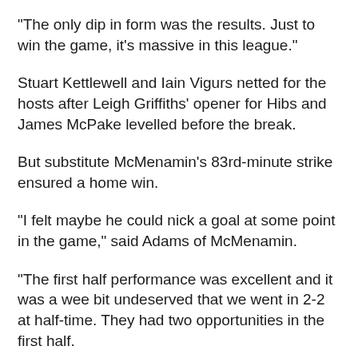"The only dip in form was the results. Just to win the game, it's massive in this league."
Stuart Kettlewell and Iain Vigurs netted for the hosts after Leigh Griffiths' opener for Hibs and James McPake levelled before the break.
But substitute McMenamin's 83rd-minute strike ensured a home win.
"I felt maybe he could nick a goal at some point in the game," said Adams of McMenamin.
"The first half performance was excellent and it was a wee bit undeserved that we went in 2-2 at half-time. They had two opportunities in the first half.
"We've got one of the best defensive records and we're scoring goals as well.
"This is a difficult league and we've been able to close